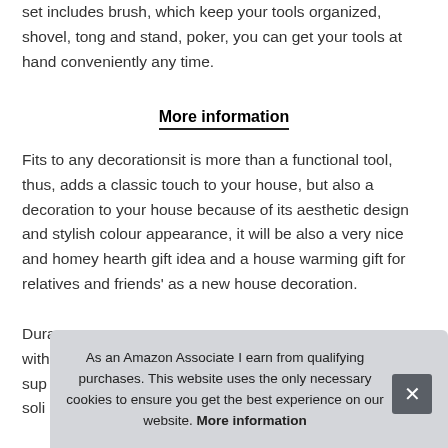set includes brush, which keep your tools organized, shovel, tong and stand, poker, you can get your tools at hand conveniently any time.
More information
Fits to any decorationsit is more than a functional tool, thus, adds a classic touch to your house, but also a decoration to your house because of its aesthetic design and stylish colour appearance, it will be also a very nice and homey hearth gift idea and a house warming gift for relatives and friends' as a new house decoration.
Dura... with... sup... soli...
As an Amazon Associate I earn from qualifying purchases. This website uses the only necessary cookies to ensure you get the best experience on our website. More information